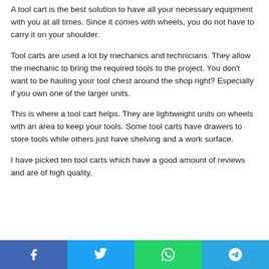A tool cart is the best solution to have all your necessary equipment with you at all times. Since it comes with wheels, you do not have to carry it on your shoulder.
Tool carts are used a lot by mechanics and technicians. They allow the mechanic to bring the required tools to the project. You don't want to be hauling your tool chest around the shop right? Especially if you own one of the larger units.
This is where a tool cart helps. They are lightweight units on wheels with an area to keep your tools. Some tool carts have drawers to store tools while others just have shelving and a work surface.
I have picked ten tool carts which have a good amount of reviews and are of high quality.
Share buttons: Facebook, Twitter, WhatsApp, Telegram